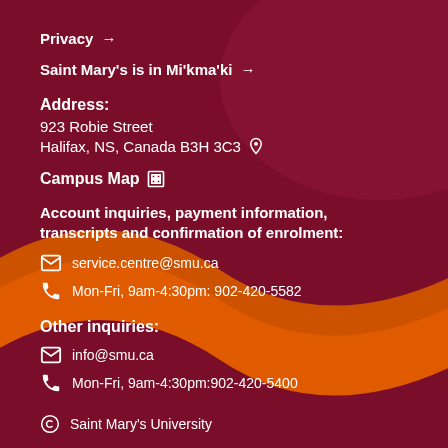Privacy →
Saint Mary's is in Mi'kma'ki →
Address:
923 Robie Street
Halifax, NS, Canada B3H 3C3
Campus Map
Account inquiries, payment information, transcripts and confirmation of enrolment:
service.centre@smu.ca
Mon-Fri, 9am-4:30pm: 902-420-5582
Other inquiries:
info@smu.ca
Mon-Fri, 9am-4:30pm:902-420-5400
© Saint Mary's University